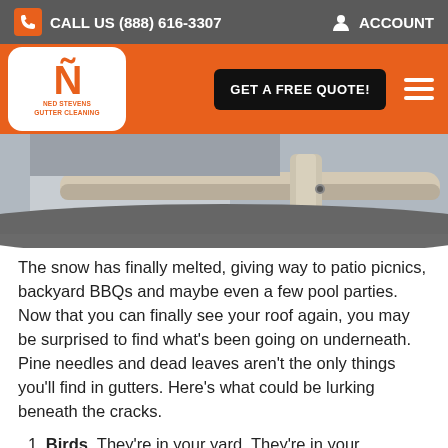CALL US (888) 616-3307   ACCOUNT
[Figure (logo): Ned Stevens Gutter Cleaning logo with large orange N and company name]
[Figure (photo): Close-up photo of a house gutter/downspout]
The snow has finally melted, giving way to patio picnics, backyard BBQs and maybe even a few pool parties. Now that you can finally see your roof again, you may be surprised to find what’s been going on underneath. Pine needles and dead leaves aren’t the only things you’ll find in gutters. Here’s what could be lurking beneath the cracks.
1. Birds. They’re in your yard. They’re in your